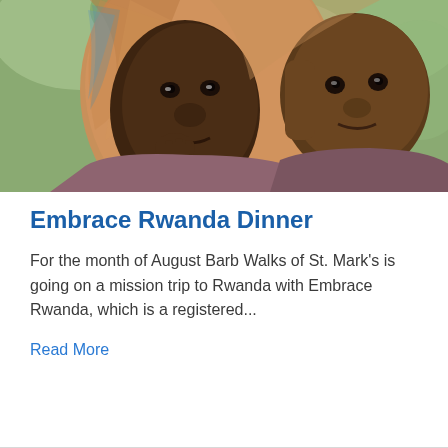[Figure (photo): Close-up photo of a woman wearing a colorful headscarf carrying a young child dressed in a purple/mauve top. Both face the camera against a blurred green background.]
Embrace Rwanda Dinner
For the month of August Barb Walks of St. Mark's is going on a mission trip to Rwanda with Embrace Rwanda, which is a registered...
Read More